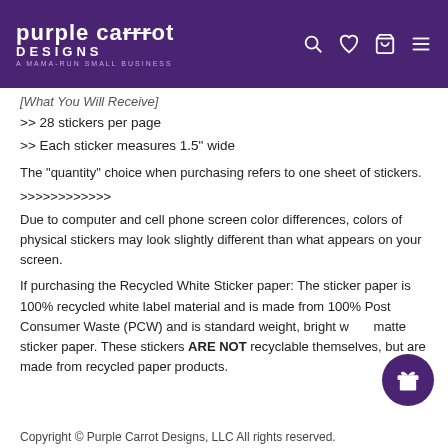Purple Carrot Designs — A Mama-Run Small Business
[What You Will Receive]
>> 28 stickers per page
>> Each sticker measures 1.5" wide
The "quantity" choice when purchasing refers to one sheet of stickers.
>>>>>>>>>>>>
Due to computer and cell phone screen color differences, colors of physical stickers may look slightly different than what appears on your screen.
If purchasing the Recycled White Sticker paper: The sticker paper is 100% recycled white label material and is made from 100% Post Consumer Waste (PCW) and is standard weight, bright white matte sticker paper. These stickers ARE NOT recyclable themselves, but are made from recycled paper products.
Copyright © Purple Carrot Designs, LLC All rights reserved.